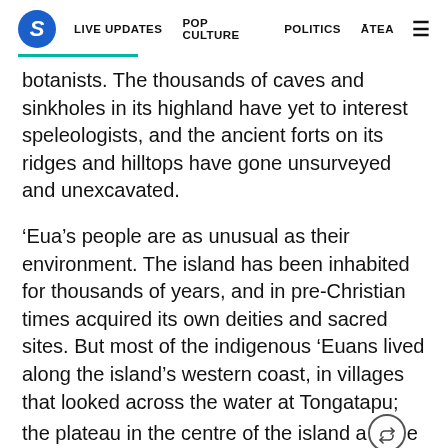S  LIVE UPDATES  POP CULTURE  POLITICS  ĀTEA  ☰
botanists. The thousands of caves and sinkholes in its highland have yet to interest speleologists, and the ancient forts on its ridges and hilltops have gone unsurveyed and unexcavated.
'Eua's people are as unusual as their environment. The island has been inhabited for thousands of years, and in pre-Christian times acquired its own deities and sacred sites. But most of the indigenous 'Euans lived along the island's western coast, in villages that looked across the water at Tongatapu; the plateau in the centre of the island a[share icon]e highland above its eastern coast remained almost uninhabited.